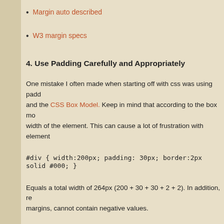Margin auto described
W3 margin specs
4. Use Padding Carefully and Appropriately
One mistake I often made when starting off with css was using padding and the CSS Box Model. Keep in mind that according to the box model width of the element. This can cause a lot of frustration with element
#div { width:200px; padding: 30px; border:2px solid #000; }
Equals a total width of 264px (200 + 30 + 30 + 2 + 2). In addition, remember that padding, unlike margins, cannot contain negative values.
Read more about padding: